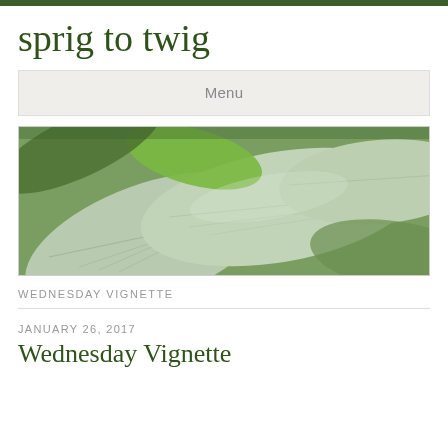sprig to twig
Menu
[Figure (photo): Close-up photograph of silvery-green sage or similar herb leaves, showing leaf texture and veining]
WEDNESDAY VIGNETTE
JANUARY 26, 2017
Wednesday Vignette